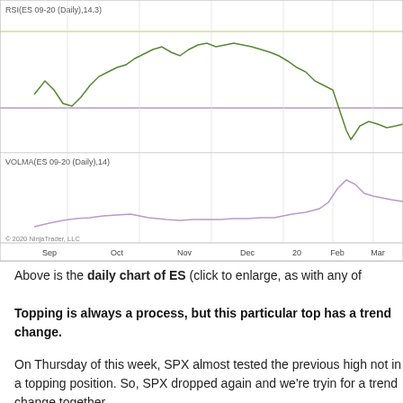[Figure (continuous-plot): Daily chart of ES showing two sub-panels: RSI(ES 09-20 Daily, 14.3) on top with a green line that rises then falls sharply near March, with horizontal reference lines; VOLMA(ES 09-20 Daily, 14) on bottom with a purple/lavender line that spikes upward near March. X-axis labels: Sep, Oct, Nov, Dec, 20, Feb, Mar. Copyright 2020 NinjaTrader, LLC.]
Above is the daily chart of ES (click to enlarge, as with any of
Topping is always a process, but this particular top has a trend change.
On Thursday of this week, SPX almost tested the previous high not in a topping position. So, SPX dropped again and we're trying for a trend change together.